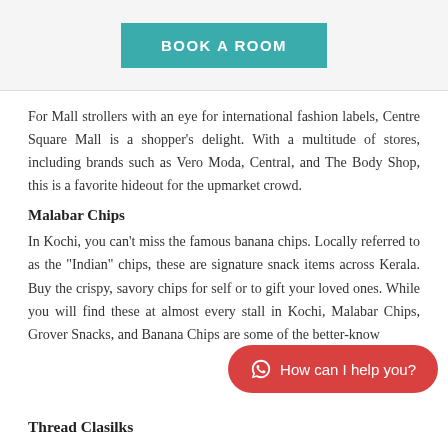[Figure (other): Teal BOOK A ROOM button in a light grey header bar]
For Mall strollers with an eye for international fashion labels, Centre Square Mall is a shopper’s delight. With a multitude of stores, including brands such as Vero Moda, Central, and The Body Shop, this is a favorite hideout for the upmarket crowd.
Malabar Chips
In Kochi, you can’t miss the famous banana chips. Locally referred to as the “Indian” chips, these are signature snack items across Kerala. Buy the crispy, savory chips for self or to gift your loved ones. While you will find these at almost every stall in Kochi, Malabar Chips, Grover Snacks, and Banana Chips are some of the better-know
[Figure (other): Red rounded chat button with WhatsApp icon saying 'How can I help you?']
Thread Clasilks